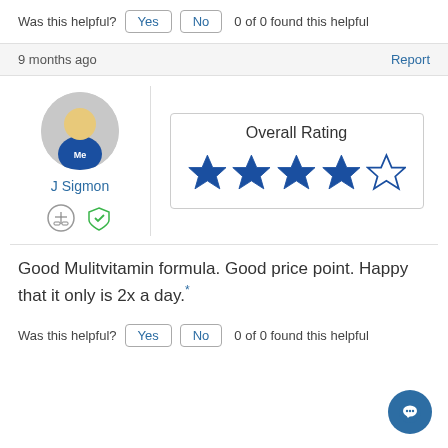Was this helpful? Yes No 0 of 0 found this helpful
9 months ago
Report
[Figure (illustration): Reviewer avatar: cartoon figure in blue jersey with 'Me' text, inside a grey circle]
J Sigmon
[Figure (illustration): Two icons: a scale icon and a green checkmark shield icon]
Overall Rating
[Figure (other): 4 out of 5 stars rating: four filled blue stars and one empty star]
Good Mulitvitamin formula. Good price point. Happy that it only is 2x a day.*
Was this helpful? Yes No 0 of 0 found this helpful